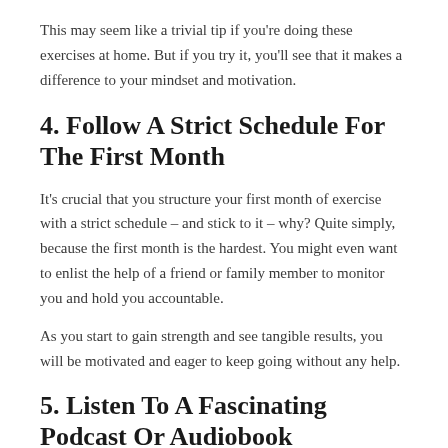This may seem like a trivial tip if you're doing these exercises at home. But if you try it, you'll see that it makes a difference to your mindset and motivation.
4. Follow A Strict Schedule For The First Month
It's crucial that you structure your first month of exercise with a strict schedule – and stick to it – why? Quite simply, because the first month is the hardest. You might even want to enlist the help of a friend or family member to monitor you and hold you accountable.
As you start to gain strength and see tangible results, you will be motivated and eager to keep going without any help.
5. Listen To A Fascinating Podcast Or Audiobook